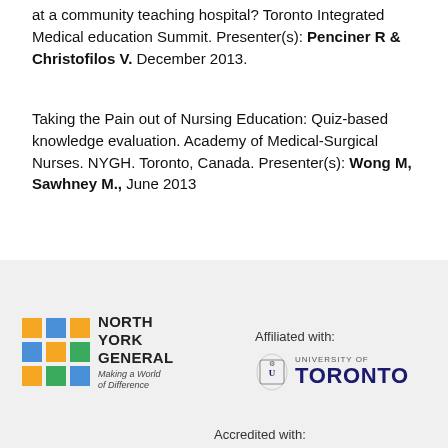at a community teaching hospital? Toronto Integrated Medical education Summit. Presenter(s): Penciner R & Christofilos V. December 2013.
Taking the Pain out of Nursing Education: Quiz-based knowledge evaluation. Academy of Medical-Surgical Nurses. NYGH. Toronto, Canada. Presenter(s): Wong M, Sawhney M., June 2013
[Figure (logo): North York General Hospital logo with colourful grid squares and tagline 'Making a World of Difference']
Affiliated with:
[Figure (logo): University of Toronto logo with shield icon and UNIVERSITY OF TORONTO text in blue]
Accredited with: